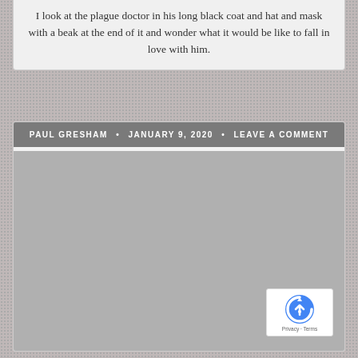I look at the plague doctor in his long black coat and hat and mask with a beak at the end of it and wonder what it would be like to fall in love with him.
PAUL GRESHAM • JANUARY 9, 2020 • LEAVE A COMMENT
[Figure (photo): Large gray placeholder image area below the post meta bar]